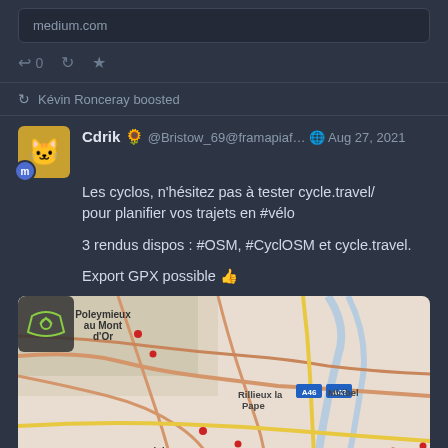medium.com
↩ 0  ↻  ★
↻ Kévin Ronceray boosted
Cdrik 🌻 @Bristow_69@framapiaf... 🌐 Aug 27, 2021
Les cyclos, n'hésitez pas à tester cycle.travel/
pour planifier vos trajets en #vélo

3 rendus dispos : #OSM, #CyclOSM et cycle.travel.

Export GPX possible 👍
[Figure (map): OpenStreetMap showing the Lyon area including Poleymieux au Mont d'Or, Rillieux la Pape, Miribel, Caluire et Cuire, Vaulx en Velin with road networks, place labels, and VR markers]